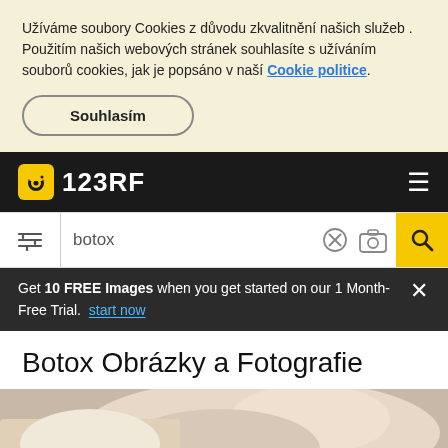Užíváme soubory Cookies z důvodu zkvalitnění našich služeb . Použitím našich webových stránek souhlasíte s užíváním souborů cookies, jak je popsáno v naší Cookie politice.
Souhlasím
[Figure (logo): 123RF logo with camera icon on black navigation bar with hamburger menu]
botox
Get 10 FREE Images when you get started on our 1 Month-Free Trial. start now
Botox Obrázky a Fotografie
[Figure (photo): Partial photo of a woman receiving botox injection, visible from forehead area]